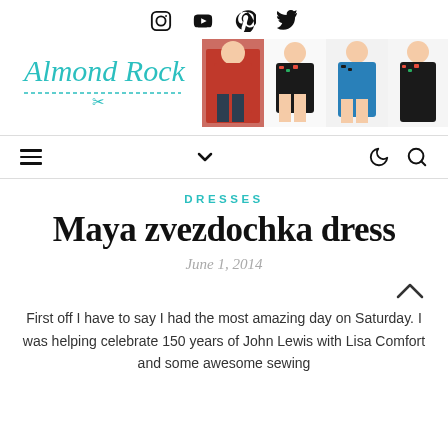Social icons: Instagram, YouTube, Pinterest, Twitter
[Figure (logo): Almond Rock script logo with teal text and dashed scissors line]
[Figure (photo): Banner showing four women in various dresses and outfits]
Navigation bar with hamburger menu, chevron, moon, and search icons
DRESSES
Maya zvezdochka dress
June 1, 2014
First off I have to say I had the most amazing day on Saturday. I was helping celebrate 150 years of John Lewis with Lisa Comfort and some awesome sewing